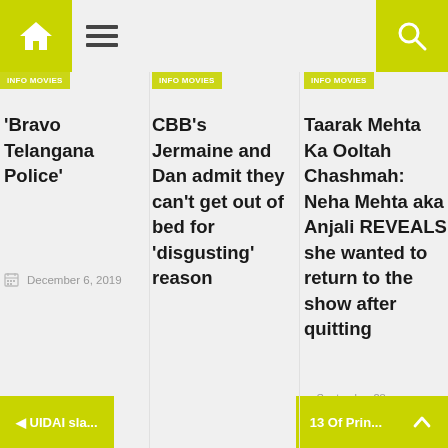Navigation bar with home, menu, and search icons
INFO MOVIES (tag, column 1)
INFO MOVIES (tag, column 2)
INFO MOVIES (tag, column 3)
'Bravo Telangana Police'
December 6, 2019
CBB's Jermaine and Dan admit they can't get out of bed for 'disgusting' reason
August 29, 2018
Taarak Mehta Ka Ooltah Chashmah: Neha Mehta aka Anjali REVEALS she wanted to return to the show after quitting
September 28, 2020
◄ UIDAI sla... | 13 Of Prin...